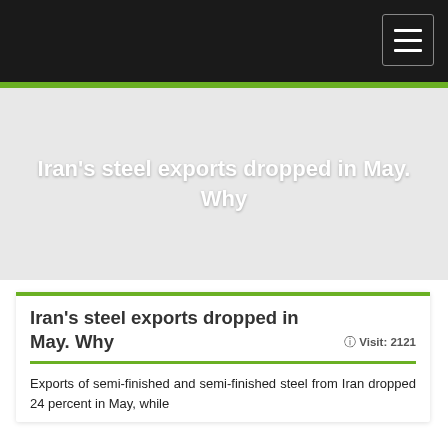Iran's steel exports dropped in May. Why
Iran's steel exports dropped in May. Why
Visit: 2121
Exports of semi-finished and semi-finished steel from Iran dropped 24 percent in May, while